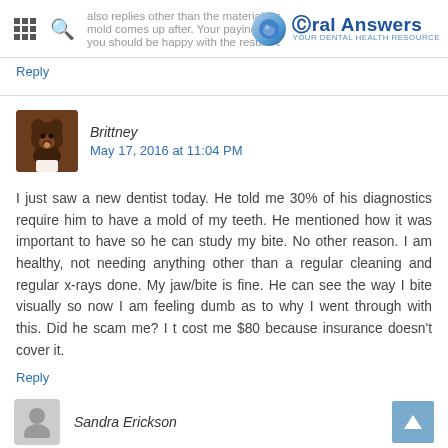Oral Answers
also replies other than the material making a mold, and when the mold comes up after. Your paying for it so I believe you should be happy with the results and the reason why.
Reply
Brittney
May 17, 2016 at 11:04 PM
I just saw a new dentist today. He told me 30% of his diagnostics require him to have a mold of my teeth. He mentioned how it was important to have so he can study my bite. No other reason. I am healthy, not needing anything other than a regular cleaning and regular x-rays done. My jaw/bite is fine. He can see the way I bite visually so now I am feeling dumb as to why I went through with this. Did he scam me? I t cost me $80 because insurance doesn't cover it.
Reply
Sandra Erickson